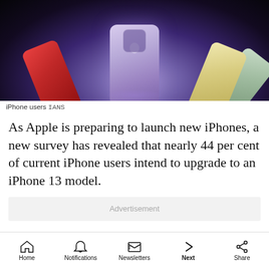[Figure (photo): Multiple iPhone models fanned out against a dark background, the front phone is lavender/purple colored, with red, yellow, and green phones visible behind it.]
iPhone users IANS
As Apple is preparing to launch new iPhones, a new survey has revealed that nearly 44 per cent of current iPhone users intend to upgrade to an iPhone 13 model.
Advertisement
Home   Notifications   Newsletters   Next   Share